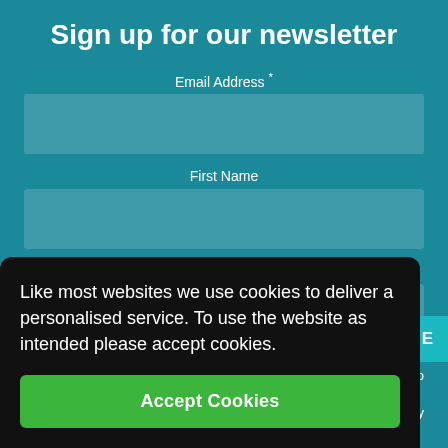Sign up for our newsletter
Email Address *
First Name
Last Name
Like most websites we use cookies to deliver a personalised service. To use the website as intended please accept cookies.
Accept Cookies
RIBE
ople to
y Policy